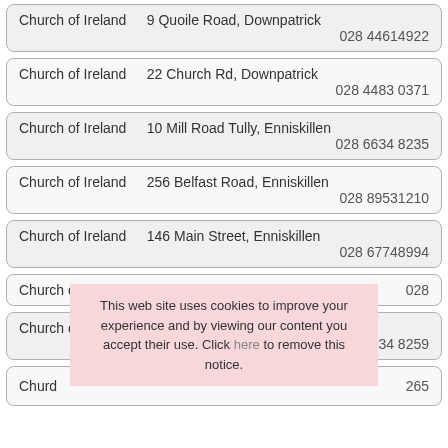Church of Ireland   9 Quoile Road, Downpatrick   028 44614922
Church of Ireland   22 Church Rd, Downpatrick   028 4483 0371
Church of Ireland   10 Mill Road Tully, Enniskillen   028 6634 8235
Church of Ireland   256 Belfast Road, Enniskillen   028 89531210
Church of Ireland   146 Main Street, Enniskillen   028 67748994
Church of Ireland   Lack, Enniskillen   028
Church of Ireland   Cleenish Rectory, Enniskillen   028 6634 8259
Churd...   265
This web site uses cookies to improve your experience and by viewing our content you accept their use. Click here to remove this notice.